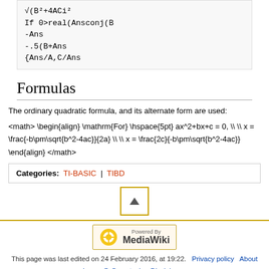√(B²+4ACi²
If 0>real(Ansconj(B
-Ans
-.5(B+Ans
{Ans/A,C/Ans
Formulas
The ordinary quadratic formula, and its alternate form are used:
Categories: TI-BASIC | TIBD
[Figure (other): Scroll to top button with up-arrow triangle icon, bordered in gold/yellow]
[Figure (logo): Powered by MediaWiki badge with sunflower logo]
This page was last edited on 24 February 2016, at 19:22. Privacy policy About Learn @ Cemetech Disclaimers